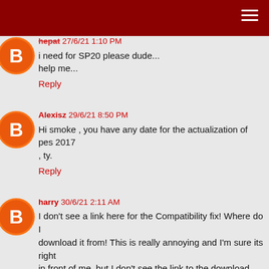hepat 27/6/21 1:10 PM
i need for SP20 please dude...
help me...
Reply
Alexisz 29/6/21 8:50 PM
Hi smoke , you have any date for the actualization of pes 2017 , ty.
Reply
harry 30/6/21 2:11 AM
I don't see a link here for the Compatibility fix! Where do I download it from! This is really annoying and I'm sure its right in front of me, but I don't see the link to the download.
Reply